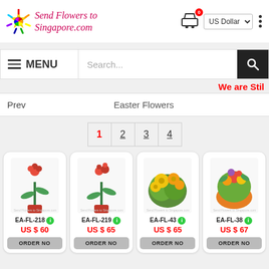Send Flowers to Singapore.com
US Dollar
≡ MENU  Search...
We are Stil
Prev   Easter Flowers
1 2 3 4
[Figure (photo): Red rose in vase - EA-FL-218]
EA-FL-218  US $ 60  ORDER NO
[Figure (photo): Red rose in vase - EA-FL-219]
EA-FL-219  US $ 65  ORDER NO
[Figure (photo): Yellow flower bouquet - EA-FL-43]
EA-FL-43  US $ 65  ORDER NO
[Figure (photo): Mixed flower bouquet - EA-FL-38]
EA-FL-38  US $ 67  ORDER NO